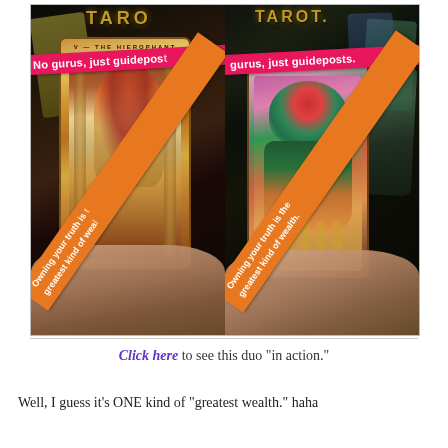[Figure (photo): Two-panel photo showing tarot cards being held. Left panel shows 'V - The Hierophant' tarot card held in hand with pink banner reading 'No gurus, just guideposts.' and orange diagonal banner reading 'Owning your truth is the greatest kind of wealth.' Right panel shows another tarot card (person with pentacles) held in hand with pink banner reading 'gurus, just guideposts.' and orange diagonal banner reading 'Owning your truth is the greatest kind of wealth.']
Click here to see this duo "in action."
Well, I guess it's ONE kind of "greatest wealth." haha